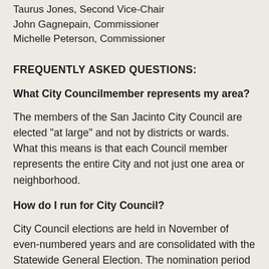Taurus Jones, Second Vice-Chair
John Gagnepain,  Commissioner
Michelle Peterson, Commissioner
FREQUENTLY ASKED QUESTIONS:
What City Councilmember represents my area?
The members of the San Jacinto City Council are elected "at large" and not by districts or wards. What this means is that each Council member represents the entire City and not just one area or neighborhood.
How do I run for City Council?
City Council elections are held in November of even-numbered years and are consolidated with the Statewide General Election. The nomination period for candidates running for a City Council seat begins in mid-July and concludes in mid-August. Please contact the City Clerk at